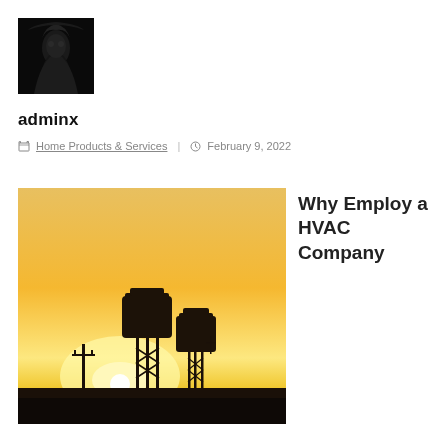[Figure (photo): Dark dramatic avatar photo of a figure with long hair, mostly black]
adminx
Home Products & Services  |  February 9, 2022
[Figure (photo): Silhouette photo of two water towers against a golden sunset sky]
Why Employ a HVAC Company